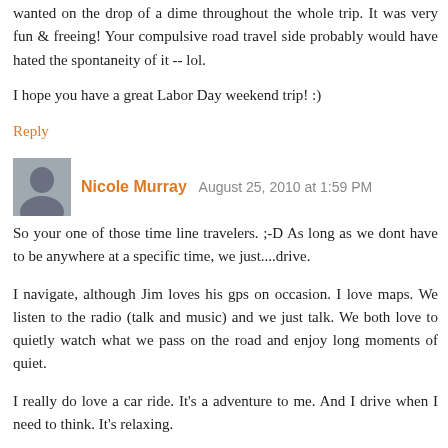wanted on the drop of a dime throughout the whole trip. It was very fun & freeing! Your compulsive road travel side probably would have hated the spontaneity of it -- lol.
I hope you have a great Labor Day weekend trip! :)
Reply
Nicole Murray  August 25, 2010 at 1:59 PM
So your one of those time line travelers. ;-D As long as we dont have to be anywhere at a specific time, we just....drive.
I navigate, although Jim loves his gps on occasion. I love maps. We listen to the radio (talk and music) and we just talk. We both love to quietly watch what we pass on the road and enjoy long moments of quiet.
I really do love a car ride. It's a adventure to me. And I drive when I need to think. It's relaxing.
I do hope all of ya have a great time. Type at ya later.